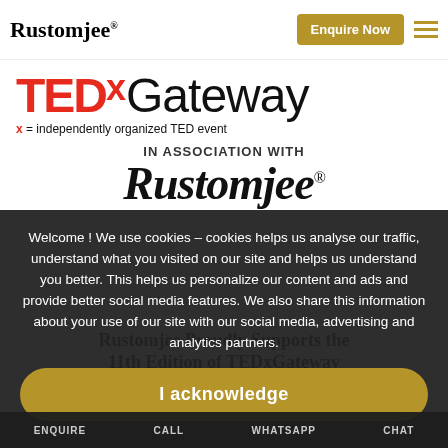Rustomjee | Enquire Now
[Figure (logo): TEDx Gateway logo with text 'x = independently organized TED event']
IN ASSOCIATION WITH
[Figure (logo): Rustomjee logo in large blackletter font with registered trademark symbol]
Welcome ! We use cookies – cookies helps us analyse our traffic, understand what you visited on our site and helps us understand you better. This helps us personalize our content and ads and provide better social media features. We also share this information about your use of our site with our social media, advertising and analytics partners.
I acknowledge
Rustomjee Proudly Supports the 11th Edition of TEDxGateway
February 22, 2020 by The Week
ENQUIRE   CALL   WHATSAPP   CHAT